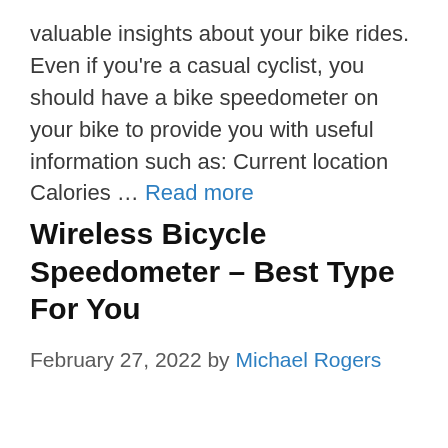valuable insights about your bike rides. Even if you're a casual cyclist, you should have a bike speedometer on your bike to provide you with useful information such as: Current location Calories … Read more
Wireless Bicycle Speedometer – Best Type For You
February 27, 2022 by Michael Rogers